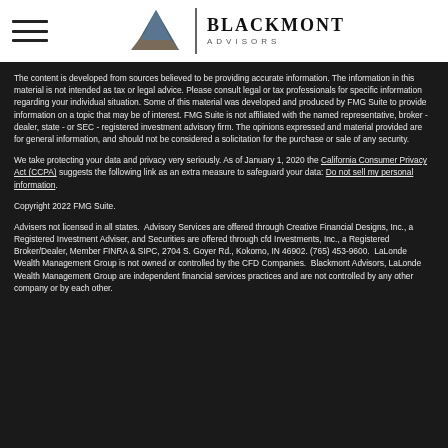[Figure (logo): Blackmont Advisors logo with mountain graphic and hamburger menu icon]
The content is developed from sources believed to be providing accurate information. The information in this material is not intended as tax or legal advice. Please consult legal or tax professionals for specific information regarding your individual situation. Some of this material was developed and produced by FMG Suite to provide information on a topic that may be of interest. FMG Suite is not affiliated with the named representative, broker - dealer, state - or SEC - registered investment advisory firm. The opinions expressed and material provided are for general information, and should not be considered a solicitation for the purchase or sale of any security.
We take protecting your data and privacy very seriously. As of January 1, 2020 the California Consumer Privacy Act (CCPA) suggests the following link as an extra measure to safeguard your data: Do not sell my personal information.
Copyright 2022 FMG Suite.
Advisers not licensed in all states.  Advisory Services are offered through Creative Financial Designs, Inc., a Registered Investment Adviser, and Securities are offered through cfd Investments, Inc., a Registered Broker/Dealer, Member FINRA & SIPC, 2704 S. Goyer Rd., Kokomo, IN 46902. (765) 453-9600.  LaLonde Wealth Management Group is not owned or controlled by the CFD Companies.  Blackmont Advisors, LaLonde Wealth Management Group are independent financial services practices and are not controlled by any other company or by each other.